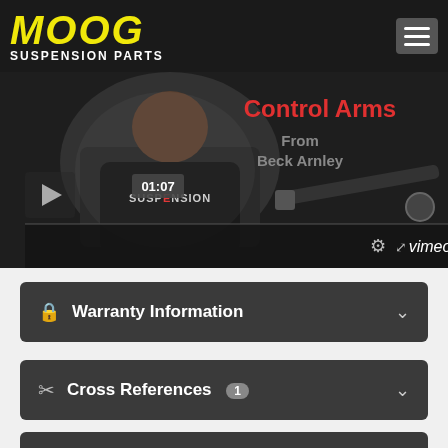[Figure (logo): MOOG Suspension Parts logo in yellow italic bold text on dark background with hamburger menu icon]
[Figure (screenshot): Video thumbnail showing a person in a Suspension t-shirt with 'Control Arms From Beck Arnley' text overlay, Vimeo player controls visible, timecode 01:07]
Warranty Information
Cross References 1